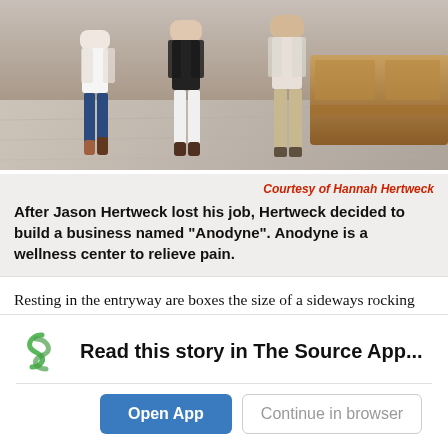[Figure (photo): Photo of people standing in a clinic/office entryway with wood-panel reception desk and light hardwood floor]
Courtesy of Hannah Hertweck
After Jason Hertweck lost his job, Hertweck decided to build a business named “Anodyne”. Anodyne is a wellness center to relieve pain.
Resting in the entryway are boxes the size of a sideways rocking chair to a simple tea pot, ready for transport to their new clinic home, Anodyne: Pain and Wellness Center of Allen. For a year,
Read this story in The Source App...
Open App   Continue in browser